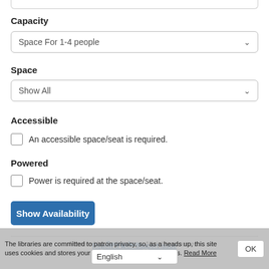Capacity
Space For 1-4 people
Space
Show All
Accessible
An accessible space/seat is required.
Powered
Power is required at the space/seat.
Show Availability
Powered by Springshare. All rights reserved.
Report a tech support issue
Login to LibApps
The libraries are committed to patron privacy, so, as a heads up, this site uses cookies and stores your IP address for usage statistics. Read More OK
English